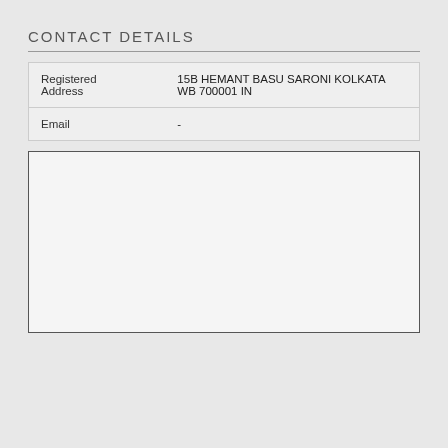CONTACT DETAILS
| Registered Address | 15B HEMANT BASU SARONI KOLKATA WB 700001 IN |
| Email | - |
[Figure (map): Empty map placeholder box]